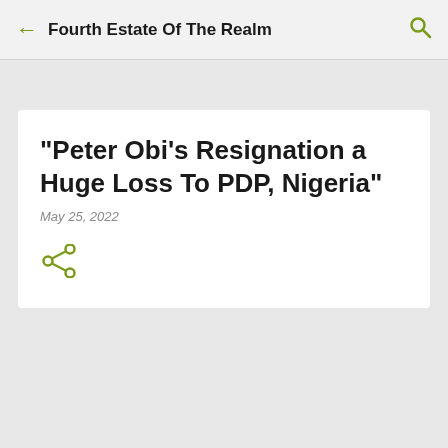Fourth Estate Of The Realm
“Peter Obi’s Resignation a Huge Loss To PDP, Nigeria”
May 25, 2022